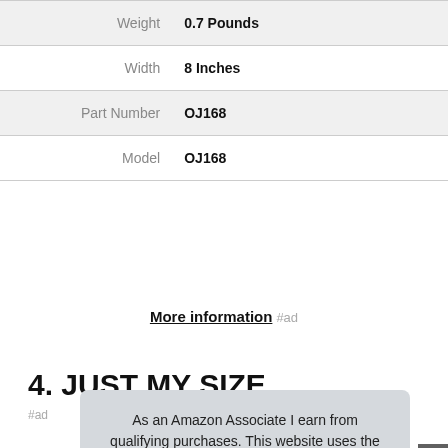| Attribute | Value |
| --- | --- |
| Weight | 0.7 Pounds |
| Width | 8 Inches |
| Part Number | OJ168 |
| Model | OJ168 |
More information #ad
4. JUST MY SIZE
#ad
As an Amazon Associate I earn from qualifying purchases. This website uses the only necessary cookies to ensure you get the best experience on our website. More information